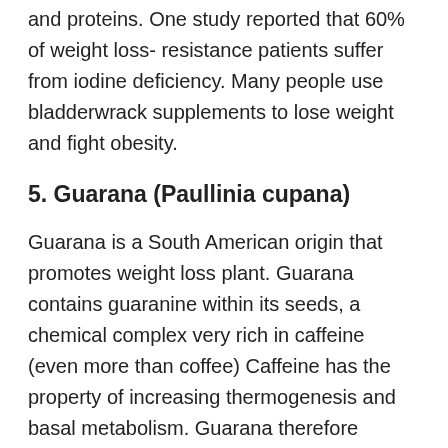and proteins. One study reported that 60% of weight loss- resistance patients suffer from iodine deficiency. Many people use bladderwrack supplements to lose weight and fight obesity.
5. Guarana (Paullinia cupana)
Guarana is a South American origin that promotes weight loss plant. Guarana contains guaranine within its seeds, a chemical complex very rich in caffeine (even more than coffee) Caffeine has the property of increasing thermogenesis and basal metabolism. Guarana therefore accelerates the breakdown of fat into the mitochondria, and is thus very popular in slimming diets. Moreover the guarana helps reduce